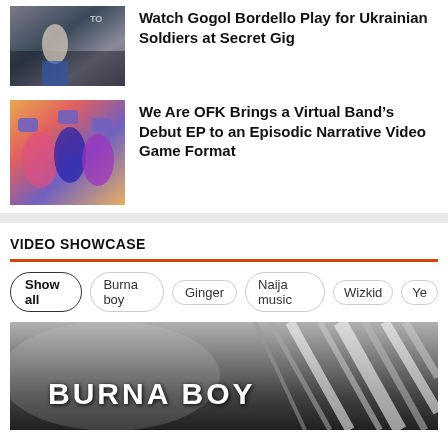[Figure (photo): Concert photo of Gogol Bordello performer on stage]
Watch Gogol Bordello Play for Ukrainian Soldiers at Secret Gig
[Figure (photo): Colorful illustration of We Are OFK virtual band members]
We Are OFK Brings a Virtual Band’s Debut EP to an Episodic Narrative Video Game Format
VIDEO SHOWCASE
Show all
Burna boy
Ginger
Naija music
Wizkid
Ye
[Figure (photo): Black and white photo with Burna Boy text graffiti on a surface, with diagonal light streaks in background]